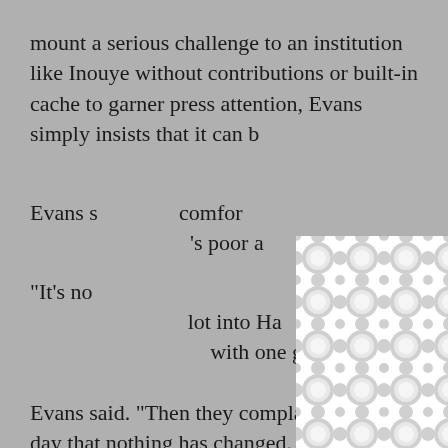mount a serious challenge to an institution like Inouye without contributions or built-in cache to garner press attention, Evans simply insists that it can b[...obscured...]
Evans s[...obscured...] comfort[...obscured...]'s poor a[...obscured...]
“It’s no[...obscured...] lot into Ha[...obscured...] with one gu[...obscured...] g anything,” Evans said. “Then they complain the next day that nothing has changed. I think people are just afraid to make the change.”
[Figure (other): White modal/popup overlay with a grey circular interlocking pattern background and a close (X) button in the top-right corner, partially obscuring the text content behind it.]